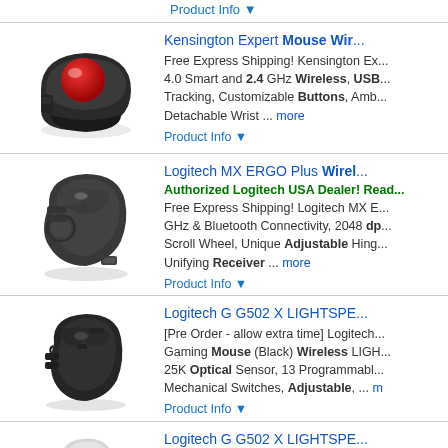Product Info ▼
[Figure (photo): Kensington Expert Mouse trackball, black with red ball]
Kensington Expert Mouse Wir...
Free Express Shipping! Kensington Ex... 4.0 Smart and 2.4 GHz Wireless, USB... Tracking, Customizable Buttons, Amb... Detachable Wrist ... more
Product Info ▼
[Figure (photo): Logitech MX ERGO Plus wireless trackball mouse, dark gray]
Logitech MX ERGO Plus Wirel...
Authorized Logitech USA Dealer! Read...
Free Express Shipping! Logitech MX E... GHz & Bluetooth Connectivity, 2048 dp... Scroll Wheel, Unique Adjustable Hing... Unifying Receiver ... more
Product Info ▼
[Figure (photo): Logitech G G502 X LIGHTSPEED gaming mouse, black]
Logitech G G502 X LIGHTSPE...
[Pre Order - allow extra time] Logitech... Gaming Mouse (Black) Wireless LIGH... 25K Optical Sensor, 13 Programmabl... Mechanical Switches, Adjustable, ... m
Product Info ▼
[Figure (photo): Logitech G G502 X LIGHTSPEED gaming mouse, white]
Logitech G G502 X LIGHTSPE...
[Pre Order - allow extra time] Logitech... Gaming Mouse (White) Wireless LIGH... 25K Optical Sensor, 13 Programmabl... Mechanical Switches, Adjustable...